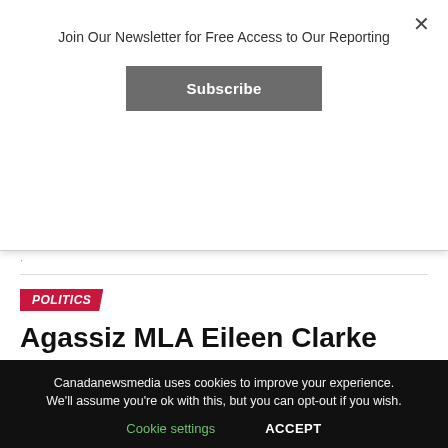Join Our Newsletter for Free Access to Our Reporting
Subscribe
·
POLITICS
Agassiz MLA Eileen Clarke announces departure from politics in 2023 – PortageOnline.com
Published 21 mins ago on August 24, 2022
By Harry Miller
Canadanewsmedia uses cookies to improve your experience. We'll assume you're ok with this, but you can opt-out if you wish.
Cookie settings    ACCEPT